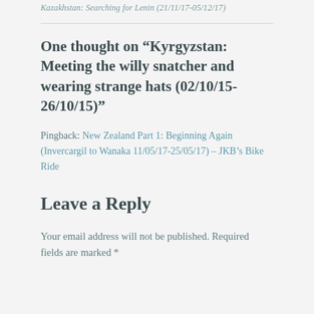Kazakhstan: Searching for Lenin (21/11/17-05/12/17)
One thought on “Kyrgyzstan: Meeting the willy snatcher and wearing strange hats (02/10/15-26/10/15)”
Pingback: New Zealand Part 1: Beginning Again (Invercargil to Wanaka 11/05/17-25/05/17) – JKB’s Bike Ride
Leave a Reply
Your email address will not be published. Required fields are marked *